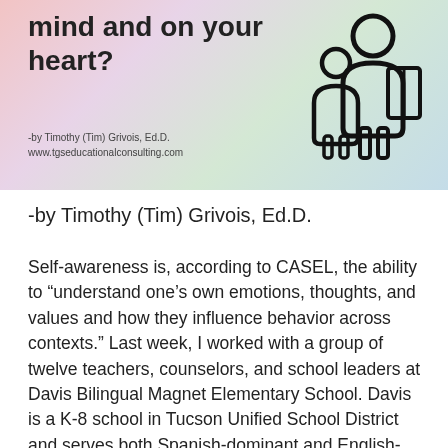[Figure (illustration): Banner image with pastel gradient background (pink, lavender, green, teal). Large bold text reads 'mind and on your heart?' with author attribution '-by Timothy (Tim) Grivois, Ed.D.' and 'www.tgseducationalconsulting.com'. On the right side there is a line-art icon of two human figures (one adult, one child).]
-by Timothy (Tim) Grivois, Ed.D.
Self-awareness is, according to CASEL, the ability to “understand one’s own emotions, thoughts, and values and how they influence behavior across contexts.” Last week, I worked with a group of twelve teachers, counselors, and school leaders at Davis Bilingual Magnet Elementary School. Davis is a K-8 school in Tucson Unified School District and serves both Spanish-dominant and English-dominant emerging bilingual students.